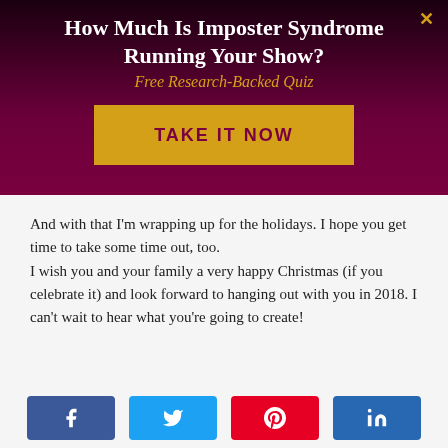How Much Is Imposter Syndrome Running Your Show?
Free Research-Backed Quiz
TAKE IT NOW
And with that I'm wrapping up for the holidays. I hope you get time to take some time out, too.
I wish you and your family a very happy Christmas (if you celebrate it) and look forward to hanging out with you in 2018. I can't wait to hear what you're going to create!
[Figure (infographic): Social share buttons: Facebook, Twitter, Pinterest, LinkedIn]